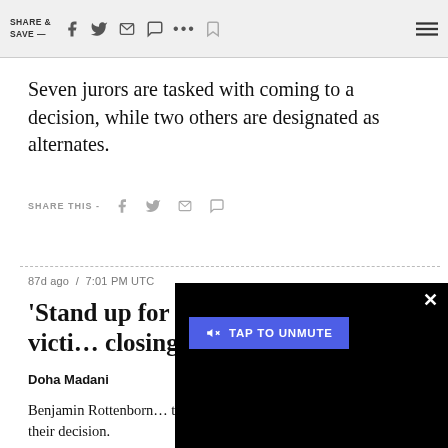SHARE & SAVE —
Seven jurors are tasked with coming to a decision, while two others are designated as alternates.
SHARE THIS -
87d ago / 7:01 PM UTC
'Stand up for victi… closing
Doha Madani
Benjamin Rottenborn… to "give Amber Heard her voice back" in their decision.
[Figure (screenshot): Video overlay with TAP TO UNMUTE button on black background with X close button]